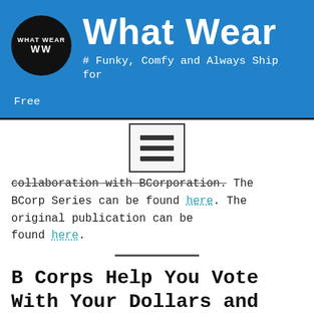What Wear
# Funky, Comfy and Always Ship for Free
[Figure (other): Hamburger menu icon inside a square border]
collaboration with BCorporation. The BCorp Series can be found here. The original publication can be found here.
B Corps Help You Vote With Your Dollars and